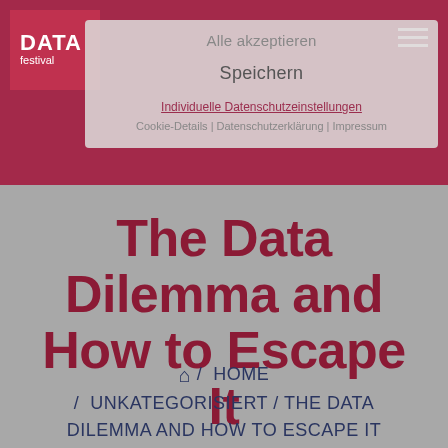[Figure (screenshot): DATA festival logo in top-left corner — white text 'DATA' bold and 'festival' on crimson/dark-red background square]
[Figure (screenshot): Semi-transparent cookie consent overlay with buttons 'Alle akzeptieren', 'Speichern', link 'Individuelle Datenschutzeinstellungen', and footer links 'Cookie-Details | Datenschutzerklärung | Impressum']
The Data Dilemma and How to Escape It
🏠 / HOME / UNKATEGORISIERT / THE DATA DILEMMA AND HOW TO ESCAPE IT